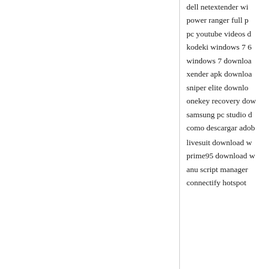dell netextender wi
power ranger full p
pc youtube videos d
kodeki windows 7 6
windows 7 downloa
xender apk downloa
sniper elite downlo
onekey recovery dow
samsung pc studio d
como descargar adob
livesuit download w
prime95 download w
anu script manager
connectify hotspot